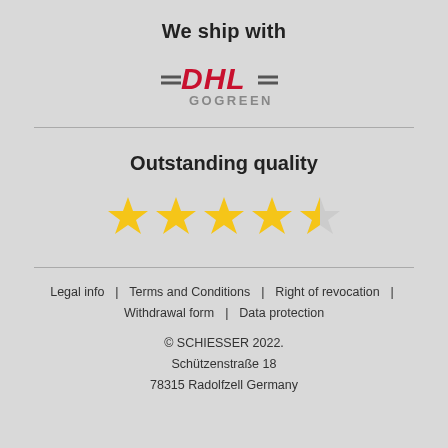We ship with
[Figure (logo): DHL GoGreen logo — red italic bold DHL letters with horizontal dashes on either side, and GOGREEN in grey letters below]
[Figure (infographic): 4.5 gold star rating — five stars, four fully gold and one half gold/grey]
Outstanding quality
Legal info | Terms and Conditions | Right of revocation | Withdrawal form | Data protection © SCHIESSER 2022. Schützenstraße 18 78315 Radolfzell Germany